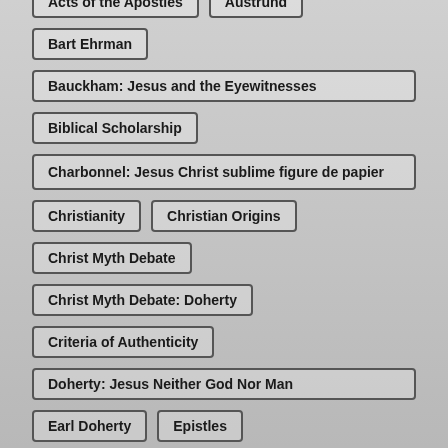Acts of the Apostles
Austrund
Bart Ehrman
Bauckham: Jesus and the Eyewitnesses
Biblical Scholarship
Charbonnel: Jesus Christ sublime figure de papier
Christianity
Christian Origins
Christ Myth Debate
Christ Myth Debate: Doherty
Criteria of Authenticity
Doherty: Jesus Neither God Nor Man
Earl Doherty
Epistles